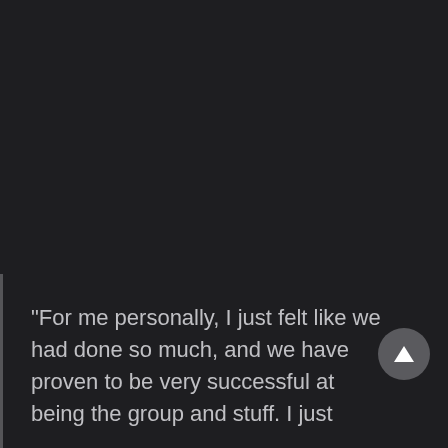“For me personally, I just felt like we had done so much, and we have proven to be very successful at being the group and stuff. I just